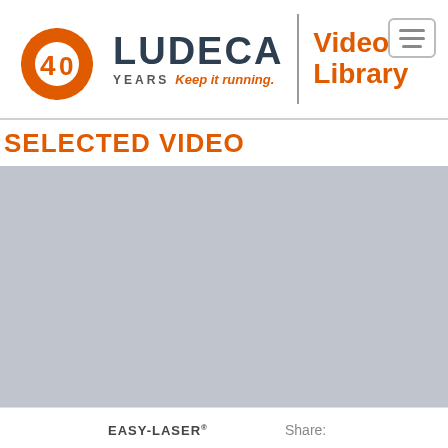[Figure (logo): LUDECA 40 Years logo with orange gear/shield icon and tagline 'Keep it running.' plus Video Library header label and hamburger menu icon]
SELECTED VIDEO
[Figure (screenshot): Gray video player placeholder area]
EASY-LASER®
Share: